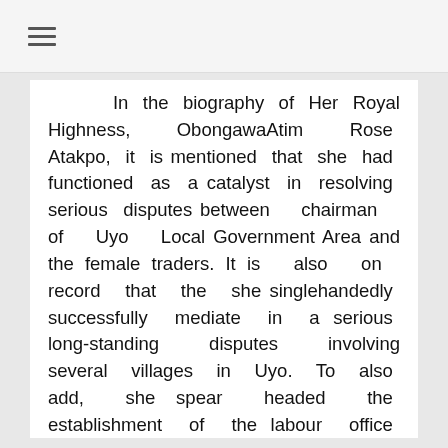☰
In the biography of Her Royal Highness, ObongawaAtim Rose Atakpo, it is mentioned that she had functioned as a catalyst in resolving serious disputes between chairman of Uyo Local Government Area and the female traders. It is also on record that the she singlehandedly successfully mediate in a serious long-standing disputes involving several villages in Uyo. To also add, she spear headed the establishment of the labour office branch in Uyo by the Federal Ministry of Labour. Her Royal Highness